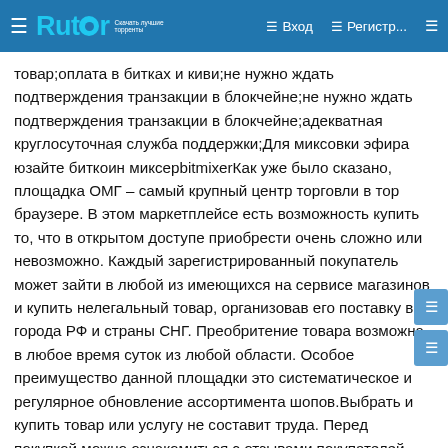Rutor | Вход | Регистр...
товар;оплата в битках и киви;не нужно ждать подтверждения транзакции в блокчейне;не нужно ждать подтверждения транзакции в блокчейне;адекватная круглосуточная служба поддержки;Для миксовки эфира юзайте биткоин миксерbitmixerКак уже было сказано, площадка ОМГ – самый крупный центр торговли в тор браузере. В этом маркетплейсе есть возможность купить то, что в открытом доступе приобрести очень сложно или невозможно. Каждый зарегистрированный покупатель может зайти в любой из имеющихся на сервисе магазинов и купить нелегальный товар, организовав его поставку в города РФ и страны СНГ. Преобритение товара возможна в любое время суток из любой области. Особое преимущество данной площадки это систематическое и регулярное обновление ассортимента шопов.Выбрать и купить товар или услугу не составит труда. Перед покупкой можно ознакомиться с отзывами покупателей. Поэтому пользователь сайта может заранее оценить качество будущей покупки и решить, нужен ему товар или все же от этой покупки стоит отказаться.